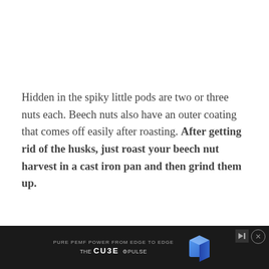Hidden in the spiky little pods are two or three nuts each. Beech nuts also have an outer coating that comes off easily after roasting. After getting rid of the husks, just roast your beech nut harvest in a cast iron pan and then grind them up.
They’re rich in fat and protein, making for a hearty brewed drink. As a side note, the young leaves and inner bark of the American beech tree are also edible. As is also the case with acorn-producing oak trees, beech nuts don’t fall every year, and some trees will go years w...
[Figure (other): Advertisement banner at bottom of page: dark background with 'PURE PEMF POWER FROM EDGE TO EDGE' tagline, THE CU3E and PULSE branding, and an image of a blue cube device. Has skip and close buttons.]